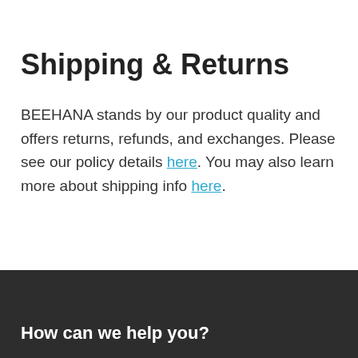Shipping & Returns
BEEHANA stands by our product quality and offers returns, refunds, and exchanges. Please see our policy details here. You may also learn more about shipping info here.
How can we help you?